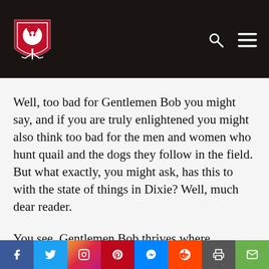[Website header with logo and navigation icons]
Well, too bad for Gentlemen Bob you might say, and if you are truly enlightened you might also think too bad for the men and women who hunt quail and the dogs they follow in the field. But what exactly, you might ask, has this to with the state of things in Dixie? Well, much dear reader.
You see, Gentlemen Bob thrives where
Social share bar: Facebook, Twitter, Instagram, Pinterest, Messenger, Reddit, Print, Email